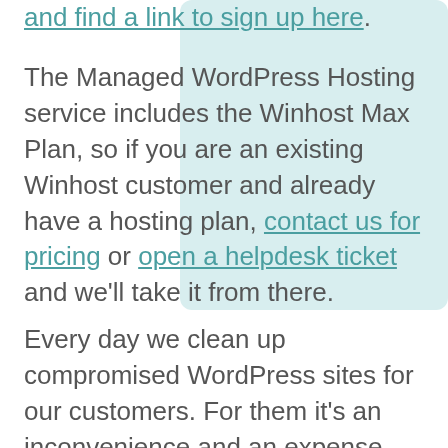and find a link to sign up here.
The Managed WordPress Hosting service includes the Winhost Max Plan, so if you are an existing Winhost customer and already have a hosting plan, contact us for pricing or open a helpdesk ticket and we'll take it from there.
Every day we clean up compromised WordPress sites for our customers. For them it's an inconvenience and an expense that they weren't expecting and don't welcome. But since WordPress is the most popular blog/CMS